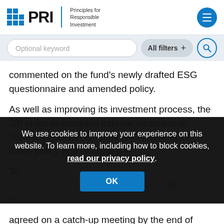PRI - Principles for Responsible Investment
[Figure (screenshot): Search bar with 'Optional keyword' placeholder, 'All filters +' button, and search icon]
commented on the fund's newly drafted ESG questionnaire and amended policy.
As well as improving its investment process, the GP plans to establish internal measures to reduce its carbon footprint (by reviewing its travel policy and employee training and... [partially obscured by cookie modal]
We use cookies to improve your experience on this website. To learn more, including how to block cookies, read our privacy policy.
agreed on a catch-up meeting by the end of 2022.